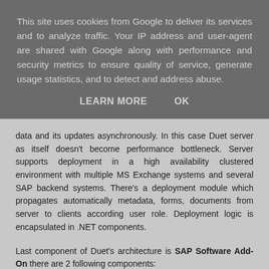This site uses cookies from Google to deliver its services and to analyze traffic. Your IP address and user-agent are shared with Google along with performance and security metrics to ensure quality of service, generate usage statistics, and to detect and address abuse.
LEARN MORE    OK
data and its updates asynchronously. In this case Duet server as itself doesn't become performance bottleneck. Server supports deployment in a high availability clustered environment with multiple MS Exchange systems and several SAP backend systems. There's a deployment module which propagates automatically metadata, forms, documents from server to clients according user role. Deployment logic is encapsulated in .NET components.
Last component of Duet's architecture is SAP Software Add-On there are 2 following components:
Service Bundling Engine – handling service requests to mySAP ERP Suite.